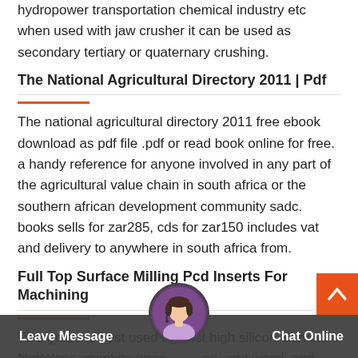hydropower transportation chemical industry etc when used with jaw crusher it can be used as secondary tertiary or quaternary crushing.
The National Agricultural Directory 2011 | Pdf
The national agricultural directory 2011 free ebook download as pdf file .pdf or read book online for free. a handy reference for anyone involved in any part of the agricultural value chain in south africa or the southern african development community sadc. books sells for zar285, cds for zar150 includes vat and delivery to anywhere in south africa from.
Full Top Surface Milling Pcd Inserts For Machining
This grade is best used against high silicon aluminum fiberglass, graphite epoxy carbon, and wood. and 1025 m pcd inserts is suitable for machining si13 high silicone aluminum alloy and tungsten carbide. the 1st grade is